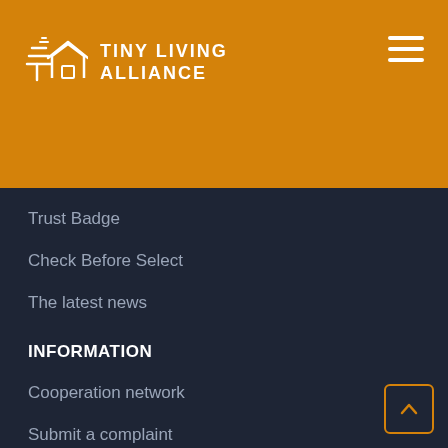[Figure (logo): Tiny Living Alliance logo with white house/tree icon and white uppercase text on orange background, with hamburger menu icon top right]
Trust Badge
Check Before Select
The latest news
INFORMATION
Cooperation network
Submit a complaint
Report abuse
FOR MEMBERS
Press kit
Promotion material